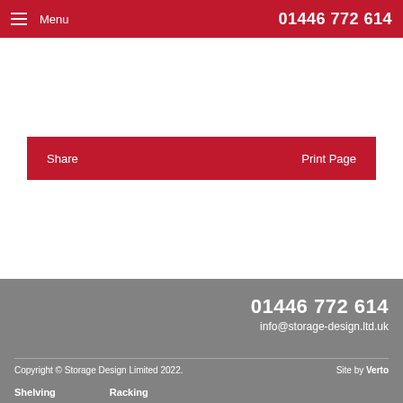Menu   01446 772 614
Share   Print Page
01446 772 614
info@storage-design.ltd.uk
Copyright © Storage Design Limited 2022.   Site by Verto
Shelving   Racking